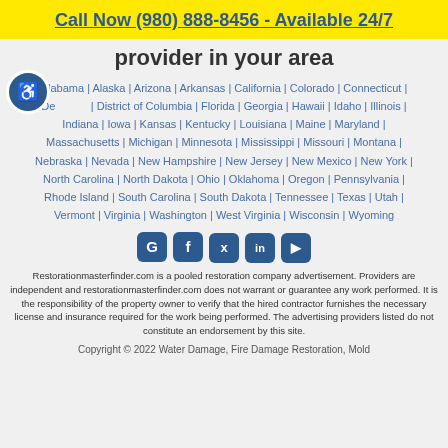Call Now (980) 888-8456 - Available 24/7
provider in your area
Alabama | Alaska | Arizona | Arkansas | California | Colorado | Connecticut | Delaware | District of Columbia | Florida | Georgia | Hawaii | Idaho | Illinois | Indiana | Iowa | Kansas | Kentucky | Louisiana | Maine | Maryland | Massachusetts | Michigan | Minnesota | Mississippi | Missouri | Montana | Nebraska | Nevada | New Hampshire | New Jersey | New Mexico | New York | North Carolina | North Dakota | Ohio | Oklahoma | Oregon | Pennsylvania | Rhode Island | South Carolina | South Dakota | Tennessee | Texas | Utah | Vermont | Virginia | Washington | West Virginia | Wisconsin | Wyoming
[Figure (infographic): Social media icons: Google, Facebook, Twitter, LinkedIn, YouTube]
Restorationmasterfinder.com is a pooled restoration company advertisement. Providers are independent and restorationmasterfinder.com does not warrant or guarantee any work performed. It is the responsibility of the property owner to verify that the hired contractor furnishes the necessary license and insurance required for the work being performed. The advertising providers listed do not constitute an endorsement by this site.
Copyright © 2022 Water Damage, Fire Damage Restoration, Mold